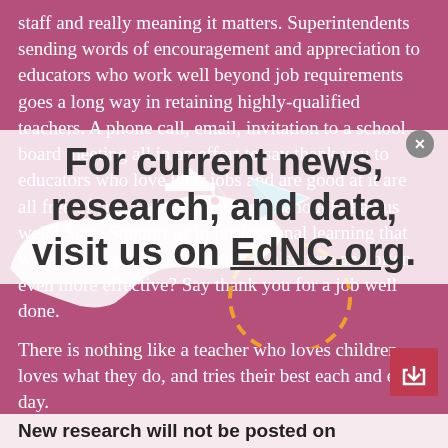staff and really meaning it matters. Superintendents sending words of encouragement and appreciation to educators who work well beyond job requirements goes a long way in retaining highly-qualified teachers. A phone call, email, invitation to a school board meeting all in an effort to say thank you to educators who love their jobs and are good at it are all free of cost but not done nearly enough. Pay us well? Sure. Support us in professional learning that we need? Yep. Something that is also free and often even more effective? Say thank you for a job well done.
[Figure (infographic): Overlay banner on purple background reading: For current news, research, and data, visit us on EdNC.org. White semi-transparent rectangle with bold dark text and underlined EdNC.org link.]
[Figure (illustration): White silhouette of North Carolina state map with graduation cap, and a blue paper airplane with a dashed orange circular path below it.]
There is nothing like a teacher who loves children, loves what they do, and tries their best each and every day.
[Figure (infographic): Bottom bar reading: New research will not be posted on]
To fellow educators in the trenches